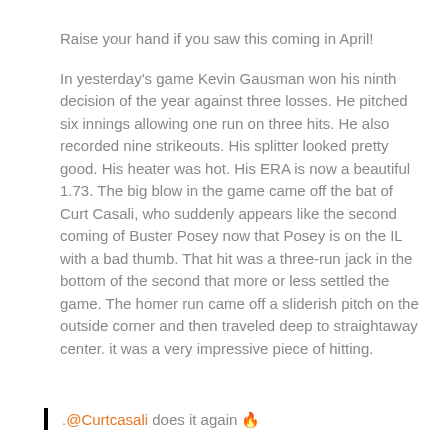Raise your hand if you saw this coming in April!
In yesterday's game Kevin Gausman won his ninth decision of the year against three losses. He pitched six innings allowing one run on three hits. He also recorded nine strikeouts. His splitter looked pretty good. His heater was hot. His ERA is now a beautiful 1.73. The big blow in the game came off the bat of Curt Casali, who suddenly appears like the second coming of Buster Posey now that Posey is on the IL with a bad thumb. That hit was a three-run jack in the bottom of the second that more or less settled the game. The homer run came off a sliderish pitch on the outside corner and then traveled deep to straightaway center. it was a very impressive piece of hitting.
.@Curtcasali does it again 🔥